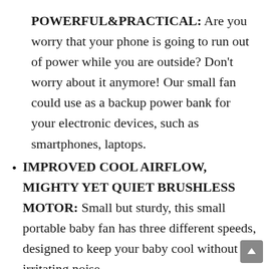POWERFUL&PRACTICAL: Are you worry that your phone is going to run out of power while you are outside? Don't worry about it anymore! Our small fan could use as a backup power bank for your electronic devices, such as smartphones, laptops.
IMPROVED COOL AIRFLOW, MIGHTY YET QUIET BRUSHLESS MOTOR: Small but sturdy, this small portable baby fan has three different speeds, designed to keep your baby cool without an irritating noise.
THREE ADJUSTABLE SPEED, 360° ROTATION, COMPACT, AND LIGHTWEIGHT FAN, FRIENDLY TO MOMMIES AND BABIES: This flexible tripod fan offers complete 360 vertical and horizontal rotation...